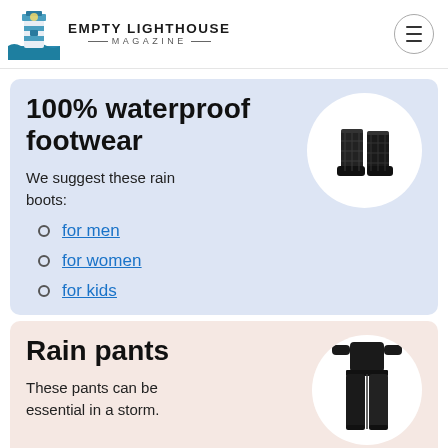EMPTY LIGHTHOUSE MAGAZINE
100% waterproof footwear
We suggest these rain boots:
for men
for women
for kids
[Figure (photo): Black quilted rain boots]
Rain pants
These pants can be essential in a storm.
[Figure (photo): Person wearing black rain pants]